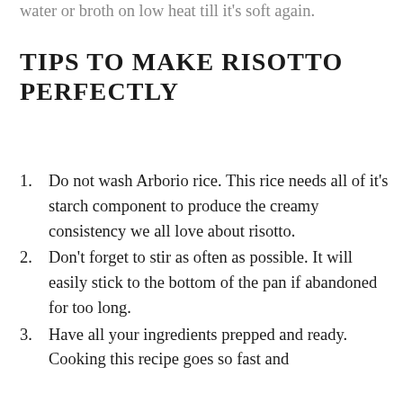water or broth on low heat till it's soft again.
TIPS TO MAKE RISOTTO PERFECTLY
Do not wash Arborio rice. This rice needs all of it's starch component to produce the creamy consistency we all love about risotto.
Don't forget to stir as often as possible. It will easily stick to the bottom of the pan if abandoned for too long.
Have all your ingredients prepped and ready. Cooking this recipe goes so fast and